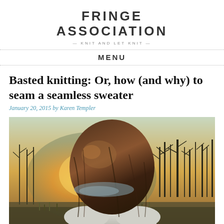FRINGE ASSOCIATION
— KNIT AND LET KNIT —
MENU
Basted knitting: Or, how (and why) to seam a seamless sweater
January 20, 2015 by Karen Templer
[Figure (photo): Back view of a person with dark hair wearing a light gray knitted sweater, outdoors with trees and warm sunset light in the background]